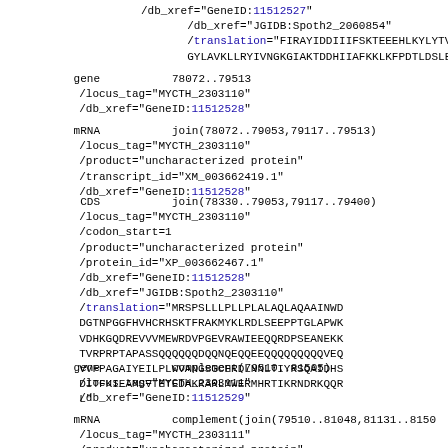/db_xref="GeneID:11512527"
/db_xref="JGIDB:Spoth2_2060854"
/translation="FIRAYIDDIIIFSKTEEEHLKYLYTV
GYLAVKLLRYIVNGKGIAKTDDHIIAFKKLKFPDTLDSLE
gene
78072..79513
/locus_tag="MYCTH_2303110"
/db_xref="GeneID:11512528"
mRNA
join(78072..79053,79117..79513)
/locus_tag="MYCTH_2303110"
/product="uncharacterized protein"
/transcript_id="XM_003662419.1"
/db_xref="GeneID:11512528"
CDS
join(78330..79053,79117..79400)
/locus_tag="MYCTH_2303110"
/codon_start=1
/product="uncharacterized protein"
/protein_id="XP_003662467.1"
/db_xref="GeneID:11512528"
/db_xref="JGIDB:Spoth2_2303110"
/translation="MRSPSLLLPLLPLALAQLAQAAINWD
DGTNPGGFHVHCRHSKTFRAKMYKLRDLSEEPPTGLAPWK
VDHKGQDREVVVMEWRDVPGEVRAWIEEQQRDPSEANEKK
TVRPRPTAPASSQQQQQQDQQNQEQQEEQQQQQQQQQVEQ
VVFPAGAIYEILPLWVANGSGCERDLNNLTIYRSQAIDHS
DITFKIEAMSVTETEDAKRARLMWERMHRTIKRNDRKQQR
L"
gene
complement(79510..81505)
/locus_tag="MYCTH_2303111"
/db_xref="GeneID:11512529"
mRNA
complement(join(79510..81048,81131..8150
/locus_tag="MYCTH_2303111"
/product="uncharacterized protein"
/transcript_id="XM_003662420.1"